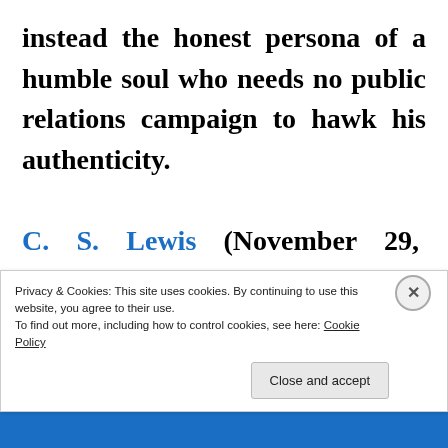instead the honest persona of a humble soul who needs no public relations campaign to hawk his authenticity. C. S. Lewis (November 29, 1898 – November 22, 1963), academic, essayist, theologian, literary critic, and acute
Privacy & Cookies: This site uses cookies. By continuing to use this website, you agree to their use. To find out more, including how to control cookies, see here: Cookie Policy